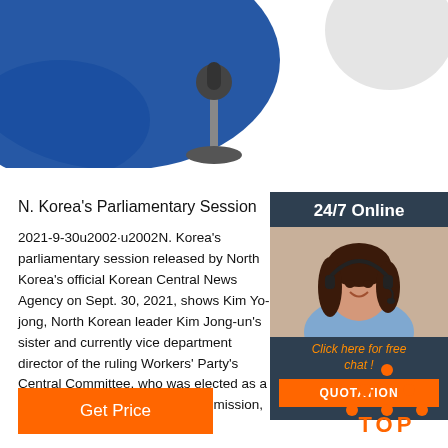[Figure (photo): Photo at top showing blue abstract shape on left and white/gray ball shape on right with a microphone stand in the center]
[Figure (infographic): Sidebar panel with '24/7 Online' text, photo of woman with headset smiling, 'Click here for free chat!' text in orange, and an orange QUOTATION button]
N. Korea's Parliamentary Session
2021-9-30u2002·u2002N. Korea's parliamentary session released by North Korea's official Korean Central News Agency on Sept. 30, 2021, shows Kim Yo-jong, North Korean leader Kim Jong-un's sister and currently vice department director of the ruling Workers' Party's Central Committee, who was elected as a member of the State Affairs Commission, the country's ...
[Figure (other): Orange 'Get Price' button]
[Figure (logo): TOP logo with orange dots arranged in triangle and orange text 'TOP' at bottom right]